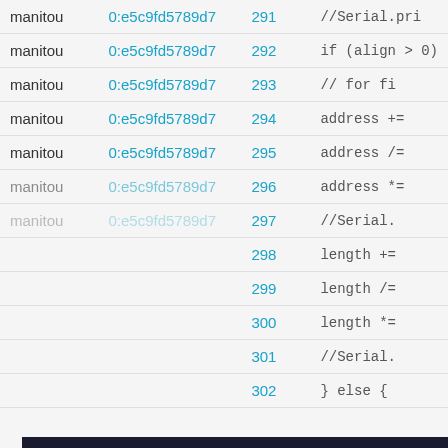| name | hash | line | code |
| --- | --- | --- | --- |
| manitou | 0:e5c9fd5789d7 | 291 | //Serial.pri |
| manitou | 0:e5c9fd5789d7 | 292 | if (align > 0) |
| manitou | 0:e5c9fd5789d7 | 293 | // for fi |
| manitou | 0:e5c9fd5789d7 | 294 | address += |
| manitou | 0:e5c9fd5789d7 | 295 | address /= |
| manitou | 0:e5c9fd5789d7 | 296 | address *= |
| manitou | 0:e5c9fd5789d7 | 297 | //Serial. |
| manitou | 0:e5c9fd5789d7 | 298 | length += |
| manitou | 0:e5c9fd5789d7 | 299 | length /= |
| manitou | 0:e5c9fd5789d7 | 300 | length *= |
| manitou | 0:e5c9fd5789d7 | 301 | //Serial. |
| manitou | 0:e5c9fd5789d7 | 302 | ] else [ |
[Figure (screenshot): Cookie consent popup overlay on a code browser page. Dark navy background with title 'Important Information for this Arm website' in bold orange/yellow text. Body text explains cookies policy. Contains an orange link 'Cookie Policy'. Bottom has a yellow 'Accept and hide this message' button.]